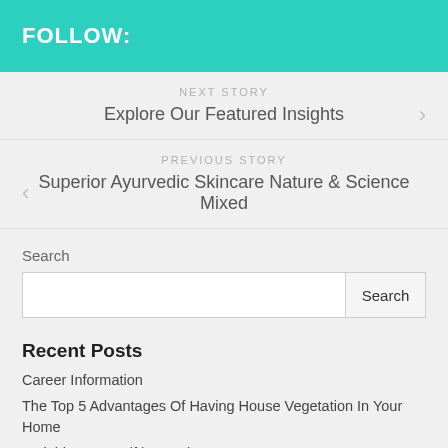FOLLOW:
NEXT STORY
Explore Our Featured Insights
PREVIOUS STORY
Superior Ayurvedic Skincare Nature & Science Mixed
Search
Recent Posts
Career Information
The Top 5 Advantages Of Having House Vegetation In Your Home
Weighing yourself is very important!
Renew Old Flooring With Paint